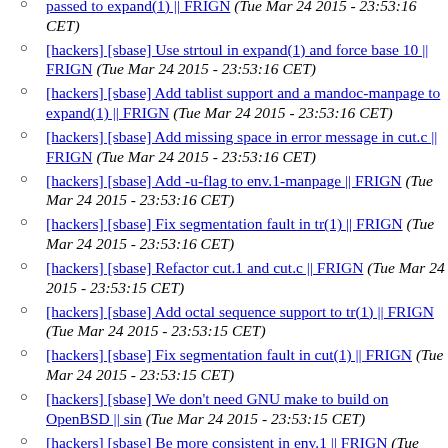passed to expand(1) || FRIGN (Tue Mar 24 2015 - 23:53:16 CET)
[hackers] [sbase] Use strtoul in expand(1) and force base 10 || FRIGN (Tue Mar 24 2015 - 23:53:16 CET)
[hackers] [sbase] Add tablist support and a mandoc-manpage to expand(1) || FRIGN (Tue Mar 24 2015 - 23:53:16 CET)
[hackers] [sbase] Add missing space in error message in cut.c || FRIGN (Tue Mar 24 2015 - 23:53:16 CET)
[hackers] [sbase] Add -u-flag to env.1-manpage || FRIGN (Tue Mar 24 2015 - 23:53:16 CET)
[hackers] [sbase] Fix segmentation fault in tr(1) || FRIGN (Tue Mar 24 2015 - 23:53:16 CET)
[hackers] [sbase] Refactor cut.1 and cut.c || FRIGN (Tue Mar 24 2015 - 23:53:15 CET)
[hackers] [sbase] Add octal sequence support to tr(1) || FRIGN (Tue Mar 24 2015 - 23:53:15 CET)
[hackers] [sbase] Fix segmentation fault in cut(1) || FRIGN (Tue Mar 24 2015 - 23:53:15 CET)
[hackers] [sbase] We don't need GNU make to build on OpenBSD || sin (Tue Mar 24 2015 - 23:53:15 CET)
[hackers] [sbase] Be more consistent in env.1 || FRIGN (Tue Mar 24 2015 - 23:53:15 CET)
[hackers] [sbase] Add mandoc-manpage for env(1) || FRIGN (Tue Mar 24 2015 - 23:53:15 CET)
[hackers] [sbase] Add mandoc-manpage for echo(1) || FRIGN